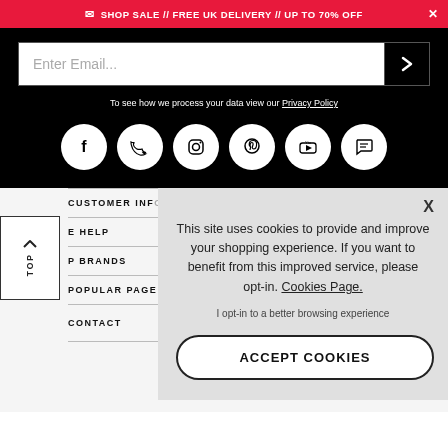SHOP SALE // FREE UK DELIVERY // UP TO 70% OFF
Enter Email...
To see how we process your data view our Privacy Policy
[Figure (other): Social media icon buttons: Facebook, Twitter, Instagram, Pinterest, YouTube, Chat]
CUSTOMER INFO
E HELP
P BRANDS
POPULAR PAGE
CONTACT
This site uses cookies to provide and improve your shopping experience. If you want to benefit from this improved service, please opt-in. Cookies Page.
I opt-in to a better browsing experience
ACCEPT COOKIES